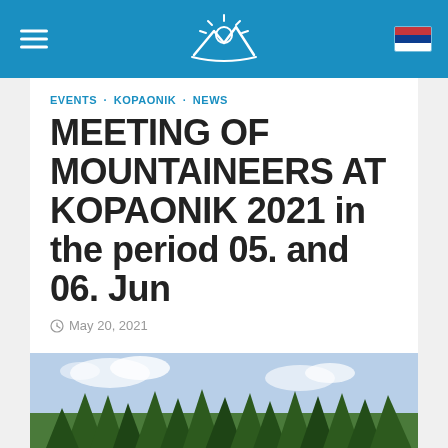EVENTS · KOPAONIK · NEWS
MEETING OF MOUNTAINEERS AT KOPAONIK 2021 in the period 05. and 06. Jun
May 20, 2021
[Figure (photo): Forest of tall evergreen pine trees under a partly cloudy sky, photo taken at Kopaonik mountain]